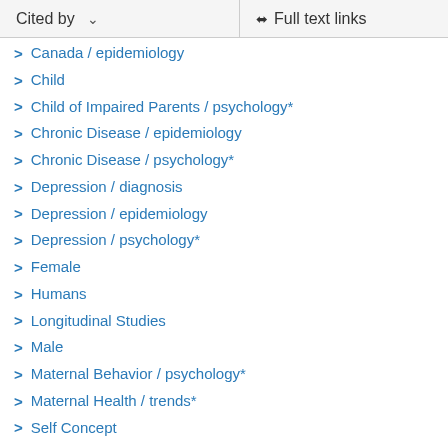Cited by   Full text links
Canada / epidemiology
Child
Child of Impaired Parents / psychology*
Chronic Disease / epidemiology
Chronic Disease / psychology*
Depression / diagnosis
Depression / epidemiology
Depression / psychology*
Female
Humans
Longitudinal Studies
Male
Maternal Behavior / psychology*
Maternal Health / trends*
Self Concept
Surveys and Questionnaires
Young Adult